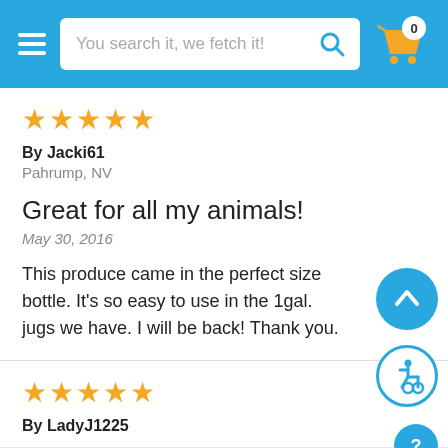[Figure (screenshot): E-commerce website header with hamburger menu, search bar reading 'You search it, we fetch it!', and shopping cart icon with badge showing 0]
★★★★★
By Jacki61
Pahrump, NV
Great for all my animals!
May 30, 2016
This produce came in the perfect size bottle. It's so easy to use in the 1gal. jugs we have. I will be back! Thank you.
★★★★★
By LadyJ1225